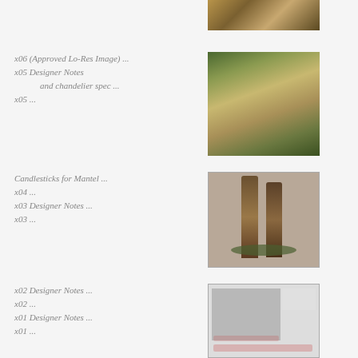[Figure (photo): Partial photo of a living room with wooden furniture, warm tones, cropped at top]
x06 (Approved Lo-Res Image) ...
x05 Designer Notes
        and chandelier spec ...
x05 ...
[Figure (photo): Living room interior with green curtains, chandelier, sofa, plants, and fireplace]
Candlesticks for Mantel ...
x04 ...
x03 Designer Notes ...
x03 ...
[Figure (photo): Two tall decorative candlesticks on a surface with greenery at base]
x02 Designer Notes ...
x02 ...
x01 Designer Notes ...
x01 ...
[Figure (photo): Black and white sketch/photo of a room interior with handwritten pink annotation notes]